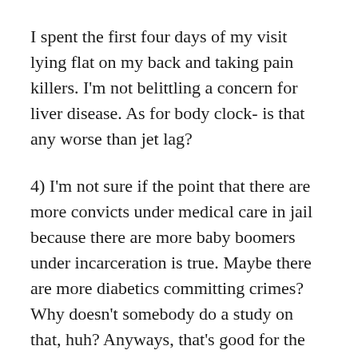I spent the first four days of my visit lying flat on my back and taking pain killers. I'm not belittling a concern for liver disease. As for body clock- is that any worse than jet lag?
4) I'm not sure if the point that there are more convicts under medical care in jail because there are more baby boomers under incarceration is true. Maybe there are more diabetics committing crimes? Why doesn't somebody do a study on that, huh? Anyways, that's good for the nursing profession- more job opportunities if you don't mind having an armed guard standing next to you while examining a patient.